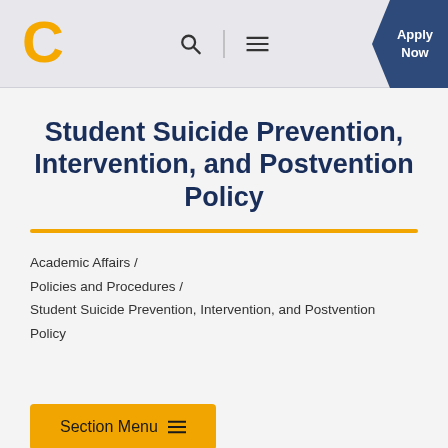UTC university navigation header with logo, search, menu, and Apply Now button
Student Suicide Prevention, Intervention, and Postvention Policy
Academic Affairs / Policies and Procedures / Student Suicide Prevention, Intervention, and Postvention Policy
Section Menu